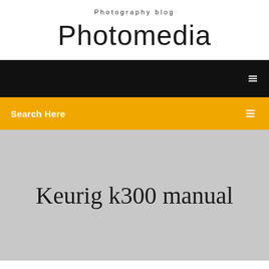Photography blog
Photomedia
[Figure (screenshot): Black navigation bar with a small white icon on the right side]
Search Here
Keurig k300 manual